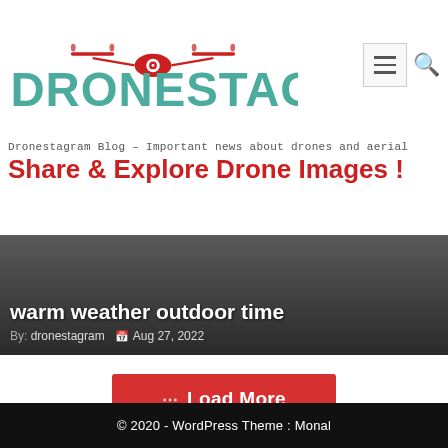[Figure (logo): Dronestagram logo with drone icon in red and teal lettering]
Dronestagram Blog – Important news about drones and aerial images
Share & Explore Drone Images !
warm weather outdoor time
By: dronestagram  Aug 27, 2022
[Figure (other): Load More button in red]
© 2020 - WordPress Theme : Monal